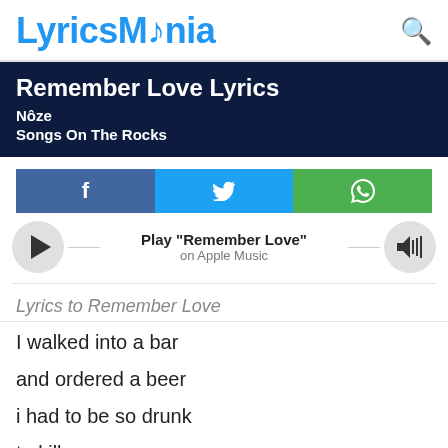LyricsMania
Remember Love Lyrics
Nôze
Songs On The Rocks
[Figure (infographic): Social share buttons: Facebook (f), Twitter (bird), WhatsApp (phone icon)]
[Figure (infographic): Apple Music player row with play button, 'Play "Remember Love"' label, 'on Apple Music' subtitle, and volume button]
Lyrics to Remember Love
I walked into a bar
and ordered a beer
i had to be so drunk
to kill my sorrow
what i want to say to my girl